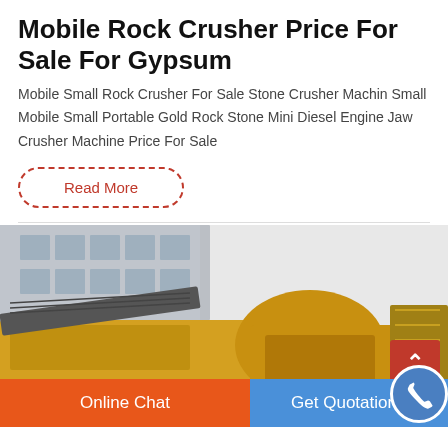Mobile Rock Crusher Price For Sale For Gypsum
Mobile Small Rock Crusher For Sale Stone Crusher Machin Small Mobile Small Portable Gold Rock Stone Mini Diesel Engine Jaw Crusher Machine Price For Sale
Read More
[Figure (photo): Industrial mobile rock crusher machinery in yellow, parked in front of a white industrial building. Large crushing equipment with conveyor belts visible.]
Online Chat
Get Quotation